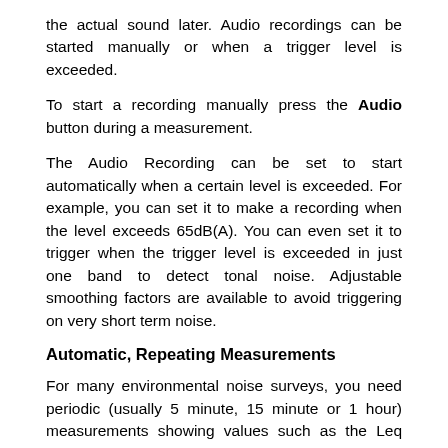the actual sound later. Audio recordings can be started manually or when a trigger level is exceeded.
To start a recording manually press the Audio button during a measurement.
The Audio Recording can be set to start automatically when a certain level is exceeded. For example, you can set it to make a recording when the level exceeds 65dB(A). You can even set it to trigger when the trigger level is exceeded in just one band to detect tonal noise. Adjustable smoothing factors are available to avoid triggering on very short term noise.
Automatic, Repeating Measurements
For many environmental noise surveys, you need periodic (usually 5 minute, 15 minute or 1 hour) measurements showing values such as the Leq and the L90.